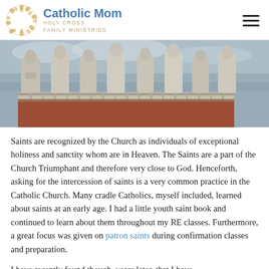Catholic Mom | HOLY CROSS FAMILY MINISTRIES
[Figure (photo): Row of large stone statues along a rooftop balustrade, likely at Vatican or Roman basilica, with a reddish terracotta roof and city skyline in background under overcast sky.]
Saints are recognized by the Church as individuals of exceptional holiness and sanctity whom are in Heaven. The Saints are a part of the Church Triumphant and therefore very close to God. Henceforth, asking for the intercession of saints is a very common practice in the Catholic Church. Many cradle Catholics, myself included, learned about saints at an early age. I had a little youth saint book and continued to learn about them throughout my RE classes. Furthermore, a great focus was given on patron saints during confirmation classes and preparation.
I have recently found though, years later, that I have